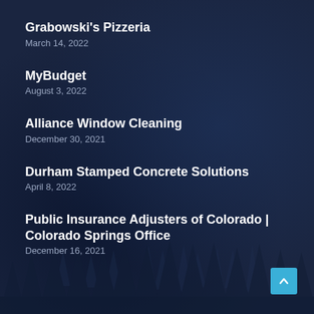Grabowski's Pizzeria
March 14, 2022
MyBudget
August 3, 2022
Alliance Window Cleaning
December 30, 2021
Durham Stamped Concrete Solutions
April 8, 2022
Public Insurance Adjusters of Colorado | Colorado Springs Office
December 16, 2021